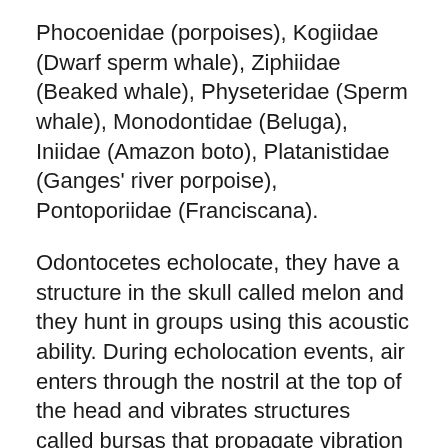Phocoenidae (porpoises), Kogiidae (Dwarf sperm whale), Ziphiidae (Beaked whale), Physeteridae (Sperm whale), Monodontidae (Beluga), Iniidae (Amazon boto), Platanistidae (Ganges' river porpoise), Pontoporiidae (Franciscana).
Odontocetes echolocate, they have a structure in the skull called melon and they hunt in groups using this acoustic ability. During echolocation events, air enters through the nostril at the top of the head and vibrates structures called bursas that propagate vibration to the melon. Then the melon transmits sound waves to the water. Sound reflex is received by acoustic channels in the lower jaw and transmitted to the inner ear.